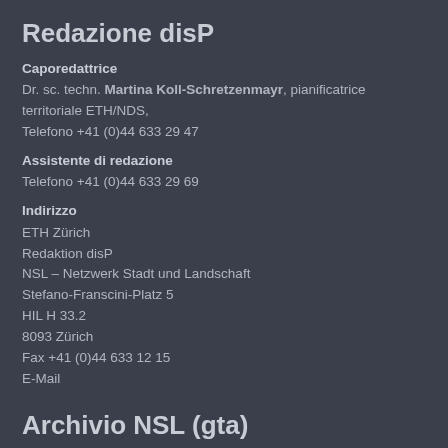Redazione disP
Caporedattrice
Dr. sc. techn. Martina Koll-Schretzenmayr, pianificatrice territoriale ETH/NDS, Telefono +41 (0)44 633 29 47
Assistente di redazione
Telefono +41 (0)44 633 29 69
Indirizzo
ETH Zürich
Redaktion disP
NSL – Netzwerk Stadt und Landschaft
Stefano-Franscini-Platz 5
HIL H 33.2
8093 Zürich
Fax +41 (0)44 633 12 15
E-Mail
Archivio NSL (gta)
Archivio storico e di ricerca per l'architettura del paesaggio e la pianificazione ambientale svizzere
Richieste di consultazione
Indirizzo
ETH Zürich